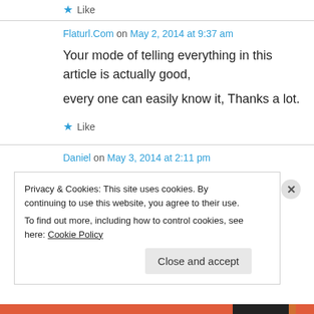★ Like
Flaturl.Com on May 2, 2014 at 9:37 am
Your mode of telling everything in this article is actually good, every one can easily know it, Thanks a lot.
★ Like
Daniel on May 3, 2014 at 2:11 pm
Privacy & Cookies: This site uses cookies. By continuing to use this website, you agree to their use. To find out more, including how to control cookies, see here: Cookie Policy
Close and accept